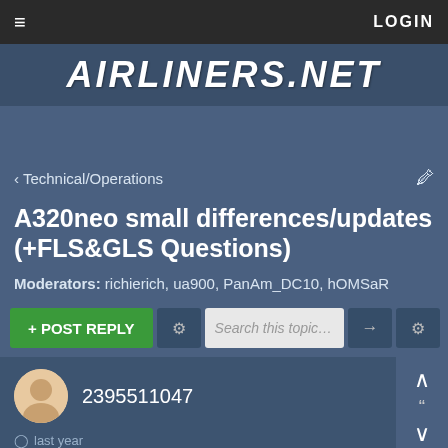☰  LOGIN
AIRLINERS.NET
< Technical/Operations
A320neo small differences/updates (+FLS&GLS Questions)
Moderators: richierich, ua900, PanAm_DC10, hOMSaR
+ POST REPLY  Search this topic...
2395511047
last year